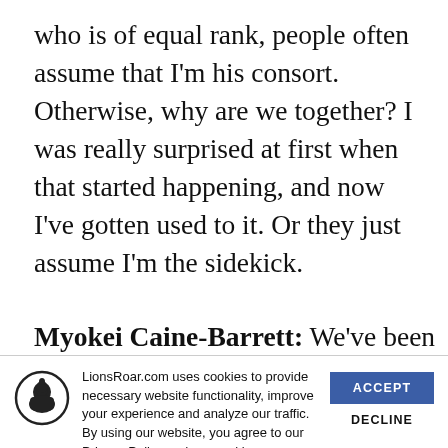who is of equal rank, people often assume that I'm his consort. Otherwise, why are we together? I was really surprised at first when that started happening, and now I've gotten used to it. Or they just assume I'm the sidekick.
Myokei Caine-Barrett: We've been calling for a
[Figure (screenshot): Cookie consent banner overlay with LionsRoar.com cookie notice, a circular Buddha icon, cookie policy text with Privacy Policy link, an ACCEPT button in blue, and a DECLINE button in bold black text.]